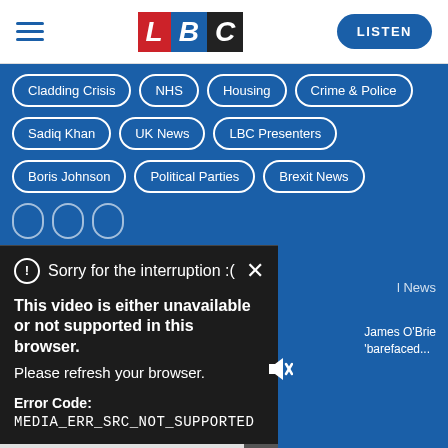[Figure (logo): LBC radio logo with L in red, B in blue, C in black, all italic bold letters]
LISTEN
Cladding Crisis
NHS
Housing
Crime & Police
Sadiq Khan
UK News
LBC Presenters
Boris Johnson
Political Parties
Brexit News
Sorry for the interruption :(
This video is either unavailable or not supported in this browser.
Please refresh your browser.
Error Code:
MEDIA_ERR_SRC_NOT_SUPPORTED
James O'Brie
'barefaced...